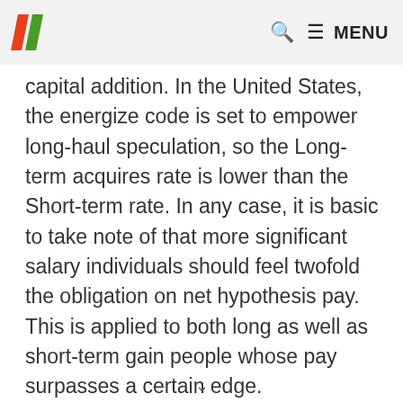HuffPost — MENU
capital addition. In the United States, the energize code is set to empower long-haul speculation, so the Long-term acquires rate is lower than the Short-term rate. In any case, it is basic to take note of that more significant salary individuals should feel twofold the obligation on net hypothesis pay. This is applied to both long as well as short-term gain people whose pay surpasses a certain edge.